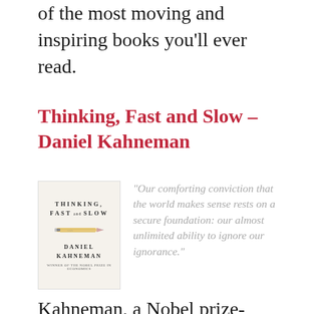of the most moving and inspiring books you'll ever read.
Thinking, Fast and Slow – Daniel Kahneman
[Figure (illustration): Book cover of 'Thinking, Fast and Slow' by Daniel Kahneman, showing the title in spaced letters, a pencil illustration in the middle, and the author's name below.]
“Our comforting conviction that the world makes sense rests on a secure foundation: our almost unlimited ability to ignore our ignorance.”
Kahneman, a Nobel prize-winning